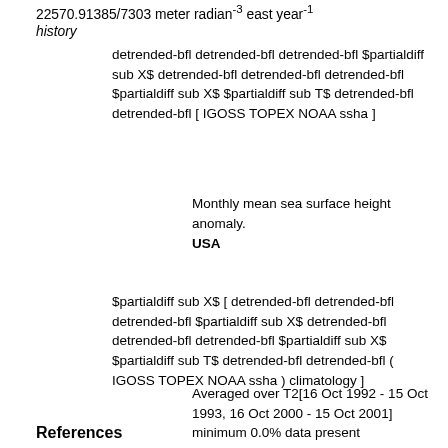22570.91385/7303 meter radian⁻³ east year⁻¹
history
detrended-bfl detrended-bfl detrended-bfl $partialdiff sub X$ detrended-bfl detrended-bfl detrended-bfl $partialdiff sub X$ $partialdiff sub T$ detrended-bfl detrended-bfl [ IGOSS TOPEX NOAA ssha ]
Monthly mean sea surface height anomaly.
USA
$partialdiff sub X$ [ detrended-bfl detrended-bfl detrended-bfl $partialdiff sub X$ detrended-bfl detrended-bfl detrended-bfl $partialdiff sub X$ $partialdiff sub T$ detrended-bfl detrended-bfl ( IGOSS TOPEX NOAA ssha ) climatology ]
Averaged over T2[16 Oct 1992 - 15 Oct 1993, 16 Oct 2000 - 15 Oct 2001] minimum 0.0% data present
References